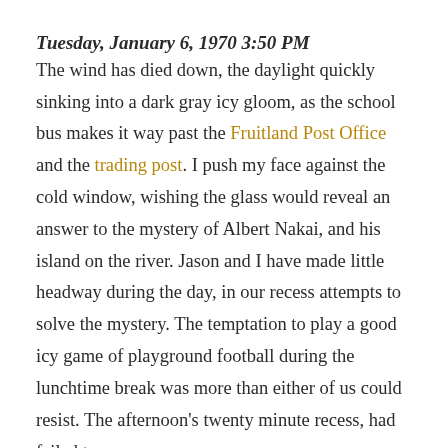Tuesday, January 6, 1970 3:50 PM
The wind has died down, the daylight quickly sinking into a dark gray icy gloom, as the school bus makes it way past the Fruitland Post Office and the trading post. I push my face against the cold window, wishing the glass would reveal an answer to the mystery of Albert Nakai, and his island on the river. Jason and I have made little headway during the day, in our recess attempts to solve the mystery. The temptation to play a good icy game of playground football during the lunchtime break was more than either of us could resist. The afternoon's twenty minute recess, had failed to